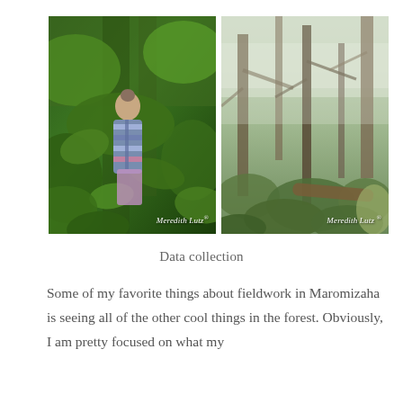[Figure (photo): Two side-by-side forest photographs. Left photo shows a researcher from behind walking through dense tropical green forest foliage, wearing a striped bag/backpack; watermark reads 'Meredith Lutz ®'. Right photo shows a misty forest scene with tall trees, ferns, and fallen logs; watermark reads 'Meredith Lutz ®'.]
Data collection
Some of my favorite things about fieldwork in Maromizaha is seeing all of the other cool things in the forest. Obviously, I am pretty focused on what my